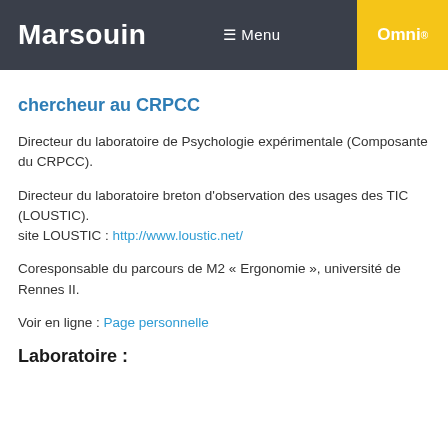Marsouin  ☰ Menu  Omni
chercheur au CRPCC
Directeur du laboratoire de Psychologie expérimentale (Composante du CRPCC).
Directeur du laboratoire breton d'observation des usages des TIC (LOUSTIC).
site LOUSTIC : http://www.loustic.net/
Coresponsable du parcours de M2 « Ergonomie », université de Rennes II.
Voir en ligne : Page personnelle
Laboratoire :